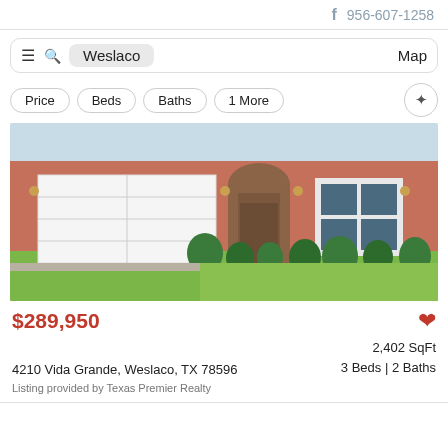f  956-607-1258
≡ 🔍 Weslaco   Map
Price
Beds
Baths
1 More
[Figure (photo): Exterior photo of a single-story brick home with two-car garage, arched entry, shrubs, and front lawn.]
$289,950
2,402 SqFt
3 Beds | 2 Baths
4210 Vida Grande, Weslaco, TX 78596
Listing provided by Texas Premier Realty